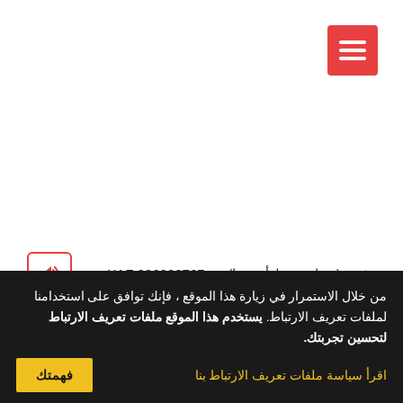[Figure (other): Red hamburger menu button in top right corner]
286000767 XAF <= (فرنك وسط أفريقيا) <= two hundred eighty-six million seven hundred sixty-seven Central African CFA franc
من خلال الاستمرار في زيارة هذا الموقع ، فإنك توافق على استخدامنا لملفات تعريف الارتباط. يستخدم هذا الموقع ملفات تعريف الارتباط لتحسين تجربتك.
اقرأ سياسة ملفات تعريف الارتباط بنا
فهمتك